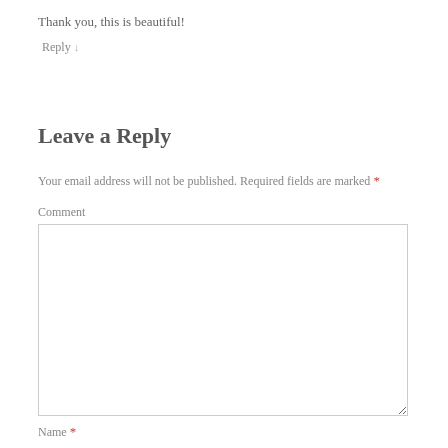Thank you, this is beautiful!
Reply ↓
Leave a Reply
Your email address will not be published. Required fields are marked *
Comment
Name *